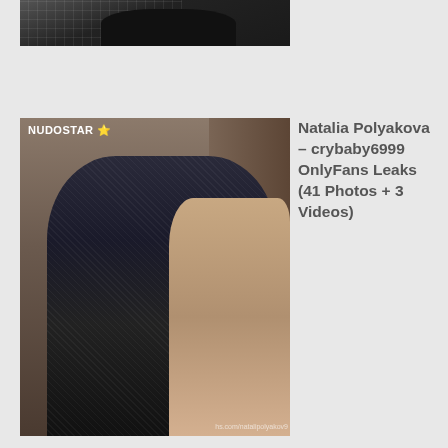[Figure (photo): Partial view of a person in black swimwear/bodysuit against a tiled wall background, cropped at top of page]
[Figure (photo): Two young women posing together in front of a brown curtain backdrop. One wears a dark lace/mesh long-sleeve outfit with black leather belt and has tattoos; the other wears a sheer fishnet bodysuit with a red choker and a flower hair accessory. A NUDOSTAR star watermark appears in the top left corner, and a partial URL watermark appears at the bottom right.]
Natalia Polyakova – crybaby6999 OnlyFans Leaks (41 Photos + 3 Videos)